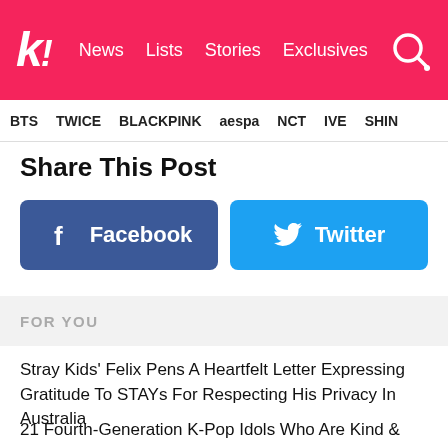k! News Lists Stories Exclusives
BTS TWICE BLACKPINK aespa NCT IVE SHIN
Share This Post
[Figure (other): Facebook share button (blue, rounded rectangle with Facebook 'f' icon and 'Facebook' text)]
[Figure (other): Twitter share button (blue, rounded rectangle with Twitter bird icon and 'Twitter' text)]
FOR YOU
Stray Kids' Felix Pens A Heartfelt Letter Expressing Gratitude To STAYs For Respecting His Privacy In Australia
21 Fourth-Generation K-Pop Idols Who Are Kind & Loyal Virgos